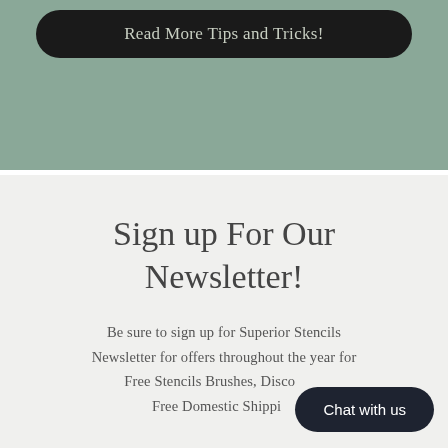[Figure (other): Green/sage colored banner section with a dark rounded button labeled 'Read More Tips and Tricks!']
Sign up For Our Newsletter!
Be sure to sign up for Superior Stencils Newsletter for offers throughout the year for Free Stencils Brushes, Discounts, Free Domestic Shipping
Chat with us